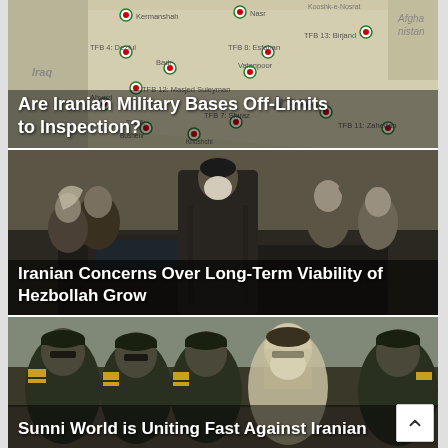[Figure (map): Map of Iran showing military base locations (TFB markers) with labels for cities and neighboring countries including Iraq and Afghanistan]
Are Iranian Military Bases Off-Limits to Inspection?
[Figure (photo): Photo of Iranian military/religious figures, including a cleric in black turban surrounded by soldiers saluting]
Iranian Concerns Over Long-Term Viability of Hezbollah Grow
[Figure (photo): Photo of a row of Iranian military officers in dark green uniforms with caps, with a bearded cleric among them]
Sunni World is Uniting Fast Against Iranian